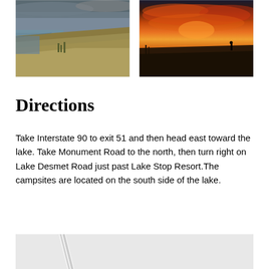[Figure (photo): Lake shoreline with grassy bank and water, overcast sky]
[Figure (photo): Dramatic sunset over a lake with orange and red sky, silhouette of a person on the shore]
Directions
Take Interstate 90 to exit 51 and then head east toward the lake. Take Monument Road to the north, then turn right on Lake Desmet Road just past Lake Stop Resort.The campsites are located on the south side of the lake.
[Figure (map): Partial map image, mostly cut off at bottom of page]